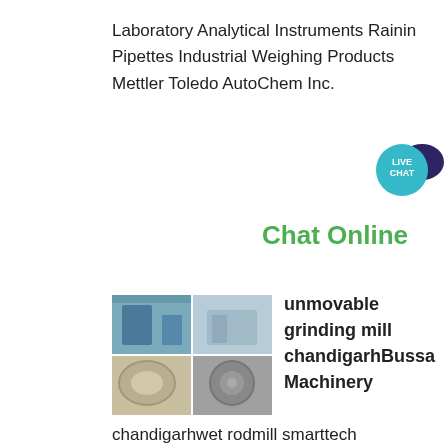Laboratory Analytical Instruments Rainin Pipettes Industrial Weighing Products Mettler Toledo AutoChem Inc.
[Figure (other): Live Chat widget button — teal circle with LIVE CHAT text and dark speech bubble icon]
Chat Online
[Figure (photo): Industrial grinding mill machinery — four-panel photo collage showing mill equipment in a factory setting]
unmovable grinding mill chandigarhBussa Machinery
chandigarhwet rodmill smarttech chandigarh wet rod mill Awetgrinding 4 x 10 center peripheraldischarge rod millused for producing fine aggregates Twelve 7 x 24 Compebmillsgrinding cement clinker to a product of 1750 surface area 90 passing a 200 mesh screen An 8 x 7 diaphragm type